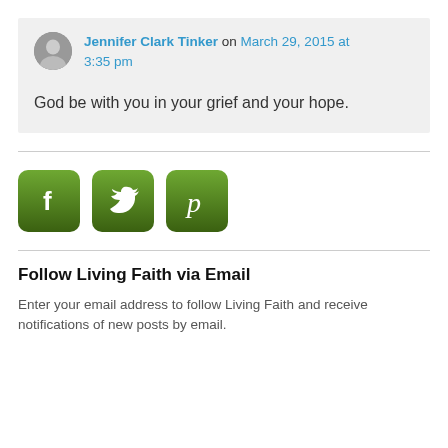Jennifer Clark Tinker on March 29, 2015 at 3:35 pm
God be with you in your grief and your hope.
[Figure (infographic): Three green gradient social media icon buttons: Facebook (f), Twitter (bird), Pinterest (p)]
Follow Living Faith via Email
Enter your email address to follow Living Faith and receive notifications of new posts by email.